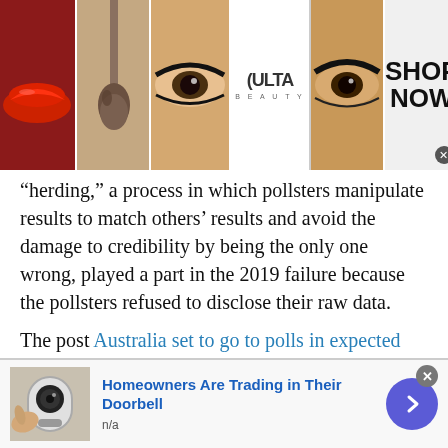[Figure (photo): Advertisement banner showing cosmetic/makeup imagery: lips with red lipstick, makeup brush, eye with dramatic makeup, Ulta Beauty logo, closeup eye with bold eyeliner, and 'SHOP NOW' text with close button]
“herding,” a process in which pollsters manipulate results to match others’ results and avoid the damage to credibility by being the only one wrong, played a part in the 2019 failure because the pollsters refused to disclose their raw data.
The post Australia set to go to polls in expected close election appeared first on Associated Press.
Tags: Australia  Campaigns  Climate  COVID-19  Economy  Elections  Government and politics  Health
[Figure (photo): Bottom advertisement showing a doorbell camera image with text 'Homeowners Are Trading in Their Doorbell' and 'n/a', with a blue arrow navigation button and close (x) button]